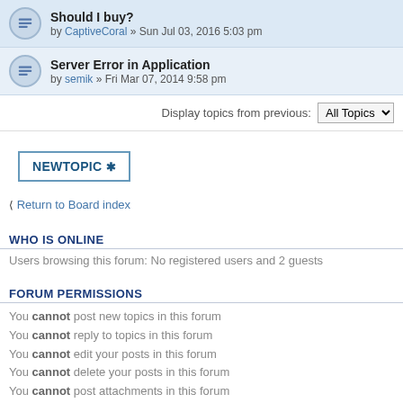Should I buy? by CaptiveCoral » Sun Jul 03, 2016 5:03 pm
Server Error in Application by semik » Fri Mar 07, 2014 9:58 pm
Display topics from previous: All Topics
NEWTOPIC ✱
Return to Board index
WHO IS ONLINE
Users browsing this forum: No registered users and 2 guests
FORUM PERMISSIONS
You cannot post new topics in this forum
You cannot reply to topics in this forum
You cannot edit your posts in this forum
You cannot delete your posts in this forum
You cannot post attachments in this forum
Board index
© Reef Angel